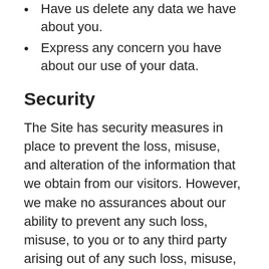Have us delete any data we have about you.
Express any concern you have about our use of your data.
Security
The Site has security measures in place to prevent the loss, misuse, and alteration of the information that we obtain from our visitors. However, we make no assurances about our ability to prevent any such loss, misuse, to you or to any third party arising out of any such loss, misuse, or alteration.
Data Collection